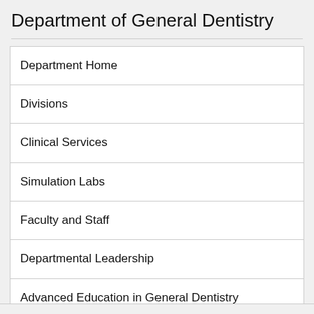Department of General Dentistry
Department Home
Divisions
Clinical Services
Simulation Labs
Faculty and Staff
Departmental Leadership
Advanced Education in General Dentistry Residency Program
Visiting Scholar Opportunities